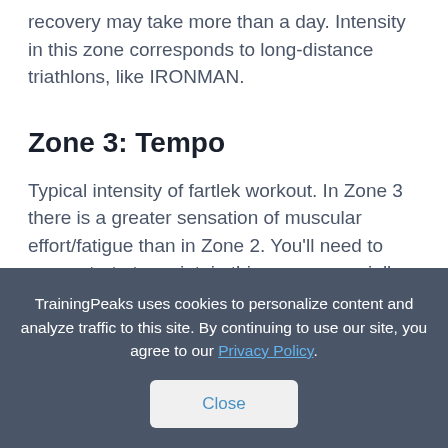recovery may take more than a day. Intensity in this zone corresponds to long-distance triathlons, like IRONMAN.
Zone 3: Tempo
Typical intensity of fartlek workout. In Zone 3 there is a greater sensation of muscular effort/fatigue than in Zone 2. You'll need to concentrate to maintain this pace, especially at the end of the workout as you tire. If
TrainingPeaks uses cookies to personalize content and analyze traffic to this site. By continuing to use our site, you agree to our Privacy Policy.
Close